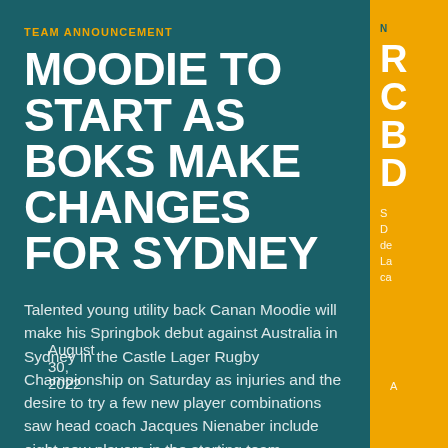TEAM ANNOUNCEMENT
MOODIE TO START AS BOKS MAKE CHANGES FOR SYDNEY
Talented young utility back Canan Moodie will make his Springbok debut against Australia in Sydney in the Castle Lager Rugby Championship on Saturday as injuries and the desire to try a few new player combinations saw head coach Jacques Nienaber include eight new players in the starting team.
August 30, 2022